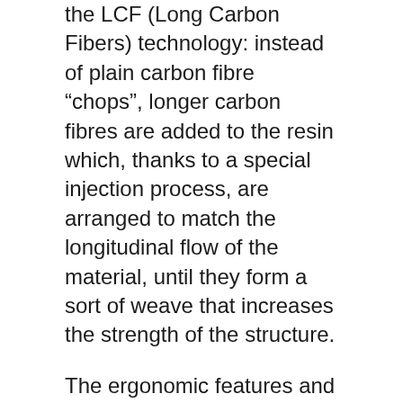the LCF (Long Carbon Fibers) technology: instead of plain carbon fibre “chops”, longer carbon fibres are added to the resin which, thanks to a special injection process, are arranged to match the longitudinal flow of the material, until they form a sort of weave that increases the strength of the structure.
The ergonomic features and materials used for the rail (T700 carbon fibre) and the padding (PU) are the same as in the Prime TPX version.
EASY FAST SAFE
The RLS system allows for cover interchangeability in one simple and safe operation: while maintaining the same base, different models can be fitted to suit your needs.